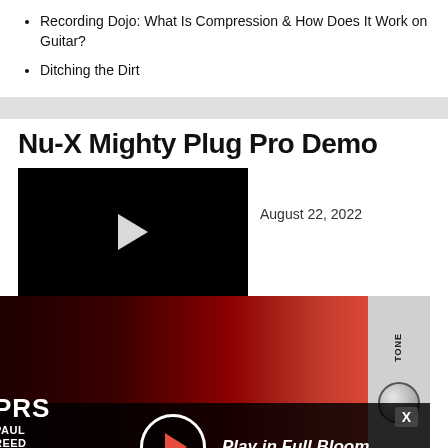Recording Dojo: What Is Compression & How Does It Work on Guitar?
Ditching the Dirt
Nu-X Mighty Plug Pro Demo
August 22, 2022
[Figure (screenshot): Video thumbnail showing a dark close-up photo of a guitar pedal with a play button overlay, next to a guitar and amplifier scene with a TONE knob visible on the right side.]
[Figure (advertisement): PRS Paul Reed Smith Guitars ad overlay featuring FIORE model guitar, Play in Full Bloom tagline, and a play button, shown at the bottom of the video area.]